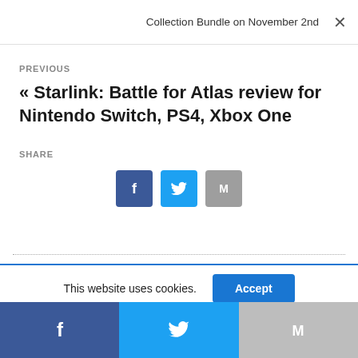Collection Bundle on November 2nd
PREVIOUS
« Starlink: Battle for Atlas review for Nintendo Switch, PS4, Xbox One
SHARE
[Figure (other): Social share icons: Facebook (blue), Twitter (light blue), Gmail (grey)]
This website uses cookies.
[Figure (other): Bottom share bar with Facebook, Twitter, and Gmail icons]